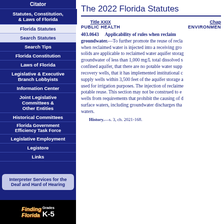Citator
Statutes, Constitution, & Laws of Florida
Florida Statutes
Search Statutes
Search Tips
Florida Constitution
Laws of Florida
Legislative & Executive Branch Lobbyists
Information Center
Joint Legislative Committees & Other Entities
Historical Committees
Florida Government Efficiency Task Force
Legislative Employment
Legistore
Links
Interpreter Services for the Deaf and Hard of Hearing
The 2022 Florida Statutes
Title XXIX PUBLIC HEALTH
Chap... ENVIRONMENT...
403.0643 Applicability of rules when reclaimed water is injected into groundwater.—To further promote the reuse of reclaimed water, when reclaimed water is injected into a receiving groundwater, rules for total dissolved solids are applicable to reclaimed water aquifer storage and recovery wells injecting into groundwater of less than 1,000 mg/L total dissolved solids, but only if done in a confined aquifer, that there are no potable water supply wells located within the aquifer storage and recovery wells, that it has implemented institutional controls to prevent the installation of potable water supply wells within 3,500 feet of the aquifer storage and recovery wells, and the recovered water is used for irrigation purposes. The injection of reclaimed water into groundwater does not constitute indirect potable reuse. This section may not be construed to exempt aquifer storage and recovery wells from requirements that prohibit the causing of degradation of the quality of surface waters, including groundwater discharges that may be hydraulically connected to surface waters.
History.—s. 3, ch. 2021-168.